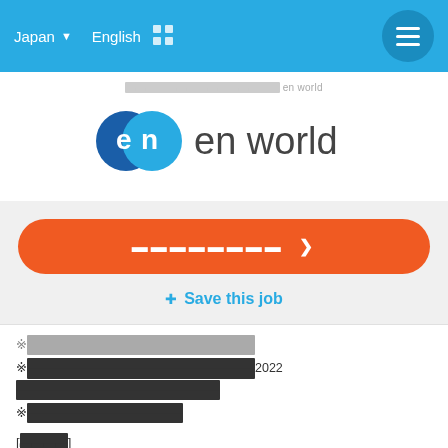Japan  English  [grid icon]
[Figure (logo): en world logo with blue circular 'en' icon and 'en world' text in dark gray]
[breadcrumb] en world
[Apply button - Japanese text with chevron]
⊕ Save this job
※[Japanese text redacted]
※[Japanese text redacted]2022[Japanese text redacted]
※[Japanese text redacted]
[[Japanese text redacted]]
[Japanese text redacted]